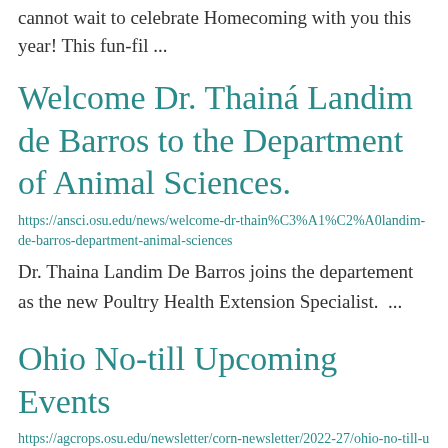cannot wait to celebrate Homecoming with you this year! This fun-fil ...
Welcome Dr. Thainá Landim de Barros to the Department of Animal Sciences.
https://ansci.osu.edu/news/welcome-dr-thain%C3%A1%C2%A0landim-de-barros-department-animal-sciences
Dr. Thaina Landim De Barros joins the departement as the new Poultry Health Extension Specialist.  ...
Ohio No-till Upcoming Events
https://agcrops.osu.edu/newsletter/corn-newsletter/2022-27/ohio-no-till-upcoming-